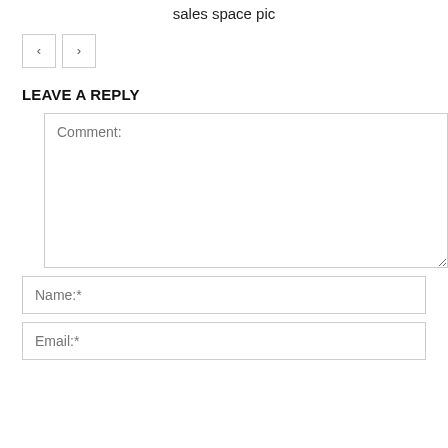sales space pic
[Figure (other): Navigation previous/next buttons (< and >)]
LEAVE A REPLY
Comment:
Name:*
Email:*